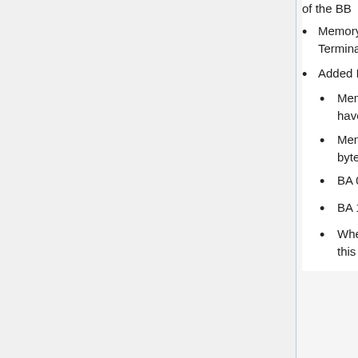of the BB
Memory Model Page0 Byte12 has been added: Can Bus Termination setting
Added Input/Output Lock/Unlock functionality:
Memory Model FRAM: Input Pages "Input Lock/Unlock bytes" have been added
Memory Model FRAM: Output Pages "Output Lock/Unlock bytes" have been added
BA 0 250 x y has been added: Unlock/Lock Output x
BA 1 250 x y has been added: Unlock/Lock Input x
When a Lock/Unlock status of an input or output is changed, this change will also be written in FRAM memory